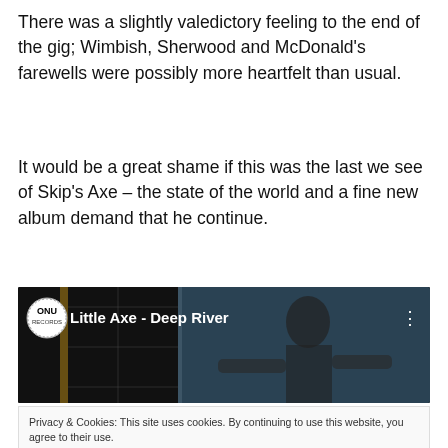There was a slightly valedictory feeling to the end of the gig; Wimbish, Sherwood and McDonald's farewells were possibly more heartfelt than usual.
It would be a great shame if this was the last we see of Skip's Axe – the state of the world and a fine new album demand that he continue.
[Figure (screenshot): Embedded video thumbnail showing 'Little Axe - Deep River' with a logo on the left and a black and white image of a person performing.]
Privacy & Cookies: This site uses cookies. By continuing to use this website, you agree to their use.
To find out more, including how to control cookies, see here: Cookie Policy
[Close and accept]